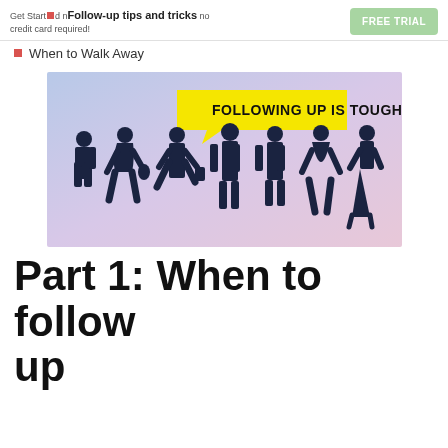Get Started now no credit card required! Follow-up tips and tricks
When to Walk Away
[Figure (illustration): Image with light blue-purple gradient background showing dark silhouettes of 7 business people standing, with a yellow speech bubble saying 'FOLLOWING UP IS TOUGH!']
Part 1: When to follow up